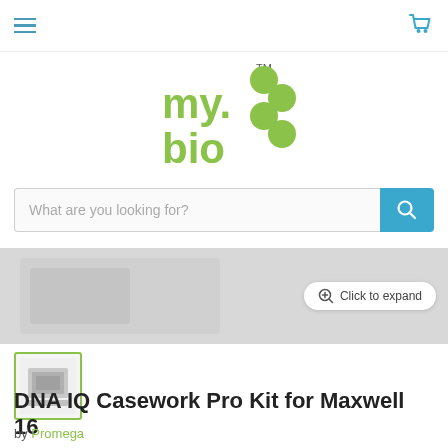[Figure (logo): my.bio logo — green stylized text with molecule circles and TM mark]
[Figure (screenshot): Search bar with placeholder 'What are you looking for?' and blue search button with magnifying glass icon]
[Figure (photo): Product image banner showing Maxwell 16 instrument, with 'Click to expand' button]
[Figure (photo): Thumbnail of Maxwell 16 instrument with green border]
DNA IQ Casework Pro Kit for Maxwell 16
by Promega